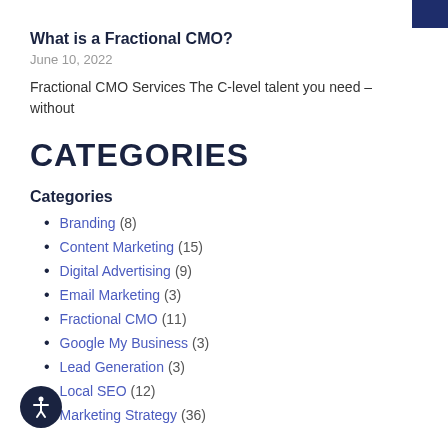What is a Fractional CMO?
June 10, 2022
Fractional CMO Services The C-level talent you need – without
CATEGORIES
Categories
Branding (8)
Content Marketing (15)
Digital Advertising (9)
Email Marketing (3)
Fractional CMO (11)
Google My Business (3)
Lead Generation (3)
Local SEO (12)
Marketing Strategy (36)